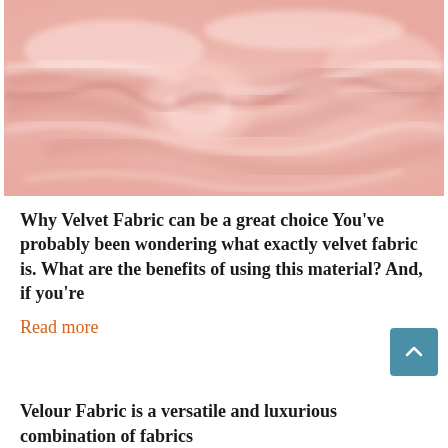[Figure (photo): Close-up photograph of soft pink velvet fabric with gentle folds and a smooth texture]
Why Velvet Fabric can be a great choice You've probably been wondering what exactly velvet fabric is. What are the benefits of using this material? And, if you're
Read more
Velour Fabric is a versatile and luxurious combination of fabrics